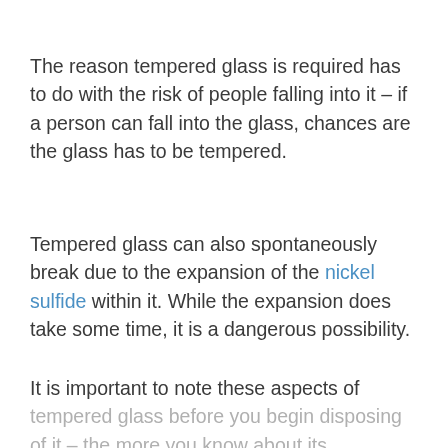The reason tempered glass is required has to do with the risk of people falling into it – if a person can fall into the glass, chances are the glass has to be tempered.
Tempered glass can also spontaneously break due to the expansion of the nickel sulfide within it. While the expansion does take some time, it is a dangerous possibility.
It is important to note these aspects of tempered glass before you begin disposing of it – the more you know about its